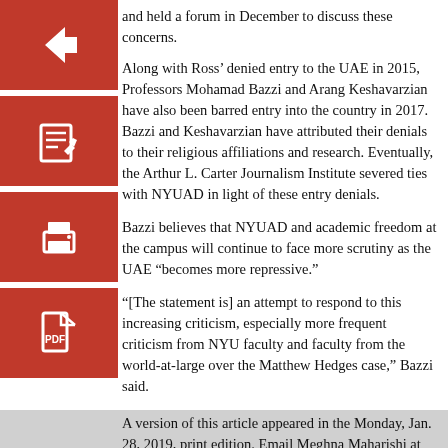and held a forum in December to discuss these concerns.
[Figure (illustration): Red square button with white left-arrow icon (back navigation)]
[Figure (illustration): Red square button with white edit/pencil icon]
[Figure (illustration): Red square button with white printer icon]
[Figure (illustration): Red square button with white PDF/document icon]
Along with Ross’ denied entry to the UAE in 2015, Professors Mohamad Bazzi and Arang Keshavarzian have also been barred entry into the country in 2017. Bazzi and Keshavarzian have attributed their denials to their religious affiliations and research. Eventually, the Arthur L. Carter Journalism Institute severed ties with NYUAD in light of these entry denials.
Bazzi believes that NYUAD and academic freedom at the campus will continue to face more scrutiny as the UAE “becomes more repressive.”
“[The statement is] an attempt to respond to this increasing criticism, especially more frequent criticism from NYU faculty and faculty from the world-at-large over the Matthew Hedges case,” Bazzi said.
A version of this article appeared in the Monday, Jan. 28, 2019, print edition. Email Meghna Maharishi at mmaharishi@nyunews.com.